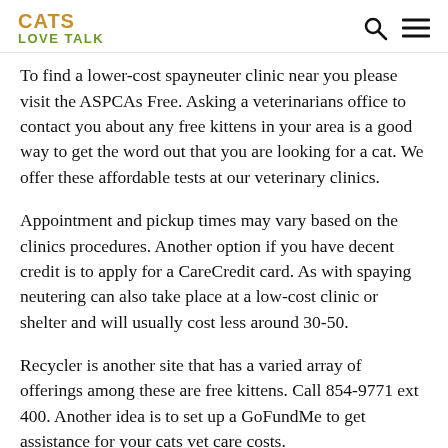CATS LOVE TALK
To find a lower-cost spayneuter clinic near you please visit the ASPCAs Free. Asking a veterinarians office to contact you about any free kittens in your area is a good way to get the word out that you are looking for a cat. We offer these affordable tests at our veterinary clinics.
Appointment and pickup times may vary based on the clinics procedures. Another option if you have decent credit is to apply for a CareCredit card. As with spaying neutering can also take place at a low-cost clinic or shelter and will usually cost less around 30-50.
Recycler is another site that has a varied array of offerings among these are free kittens. Call 854-9771 ext 400. Another idea is to set up a GoFundMe to get assistance for your cats vet care costs.